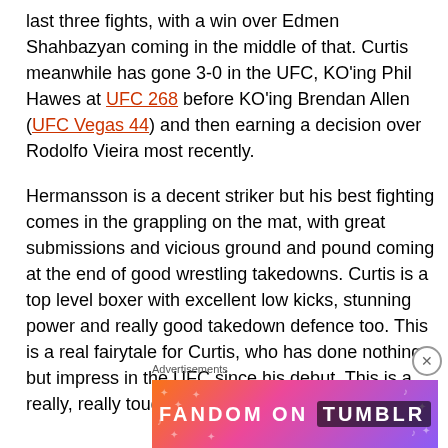last three fights, with a win over Edmen Shahbazyan coming in the middle of that. Curtis meanwhile has gone 3-0 in the UFC, KO'ing Phil Hawes at UFC 268 before KO'ing Brendan Allen (UFC Vegas 44) and then earning a decision over Rodolfo Vieira most recently.
Hermansson is a decent striker but his best fighting comes in the grappling on the mat, with great submissions and vicious ground and pound coming at the end of good wrestling takedowns. Curtis is a top level boxer with excellent low kicks, stunning power and really good takedown defence too. This is a real fairytale for Curtis, who has done nothing but impress in the UFC since his debut. This is a really, really tough fight to call.
[Figure (other): Fandom on Tumblr advertisement banner with colorful gradient background (orange to pink to purple) with decorative sparkles and musical notes, displaying 'FANDOM ON tumblr' text]